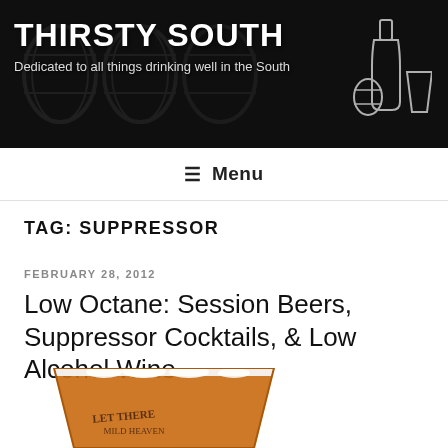THIRSTY SOUTH
Dedicated to all things drinking well in the South
Menu
TAG: SUPPRESSOR
FEBRUARY 28, 2012
Low Octane: Session Beers, Suppressor Cocktails, & Low Alcohol Wine
[Figure (photo): A glass of amber beer with white foam head, labeled 'LET THERE MILD HEAVEN']